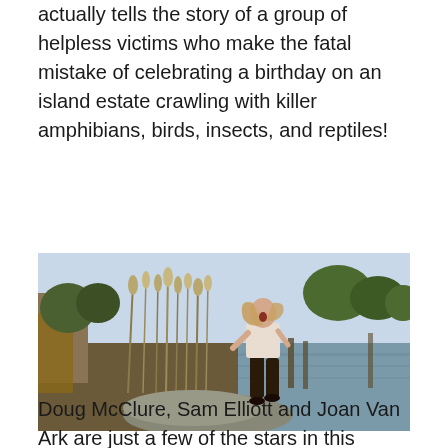actually tells the story of a group of helpless victims who make the fatal mistake of celebrating a birthday on an island estate crawling with killer amphibians, birds, insects, and reptiles!
[Figure (photo): A woman in a white top and dark pants standing on rocks at the edge of a body of water, looking frightened, surrounded by tall reeds and trees in the background.]
Doug McClure, Sam Elliott and Joan Van Ark are just a few of the stars in this creature feature extravaganza!